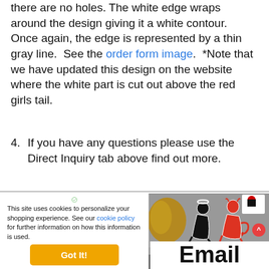there are no holes. The white edge wraps around the design giving it a white contour.  Once again, the edge is represented by a thin gray line.  See the order form image.  *Note that we have updated this design on the website where the white part is cut out above the red girls tail.
4. If you have any questions please use the Direct Inquiry tab above find out more.
[Figure (screenshot): Cookie consent popup with green checkmark, cookie policy text, and orange Got It! button on left; product decal image on right showing black and red girl decal figures with labels 'Printed Decal withOUT holes'; and Email text below]
Email